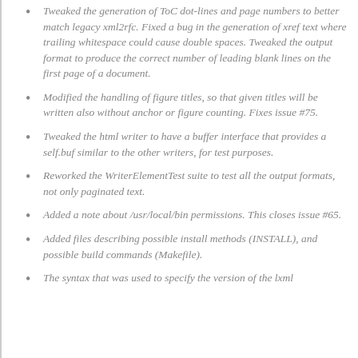Tweaked the generation of ToC dot-lines and page numbers to better match legacy xml2rfc. Fixed a bug in the generation of xref text where trailing whitespace could cause double spaces. Tweaked the output format to produce the correct number of leading blank lines on the first page of a document.
Modified the handling of figure titles, so that given titles will be written also without anchor or figure counting. Fixes issue #75.
Tweaked the html writer to have a buffer interface that provides a self.buf similar to the other writers, for test purposes.
Reworked the WriterElementTest suite to test all the output formats, not only paginated text.
Added a note about /usr/local/bin permissions. This closes issue #65.
Added files describing possible install methods (INSTALL), and possible build commands (Makefile).
The syntax that was used to specify the version of the lxml